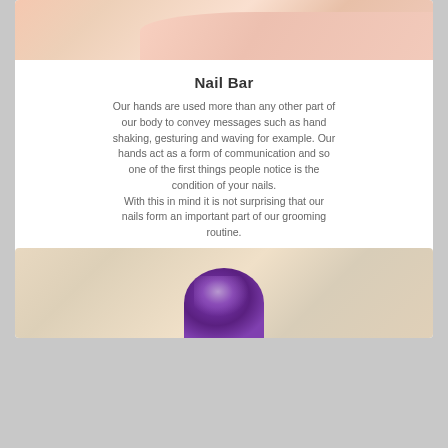[Figure (photo): Close-up photo of manicured hand with pink/nude nails against white background]
Nail Bar
Our hands are used more than any other part of our body to convey messages such as hand shaking, gesturing and waving for example. Our hands act as a form of communication and so one of the first things people notice is the condition of your nails.
With this in mind it is not surprising that our nails form an important part of our grooming routine.
Read more
[Figure (photo): Close-up photo of toes with purple glitter nail polish]